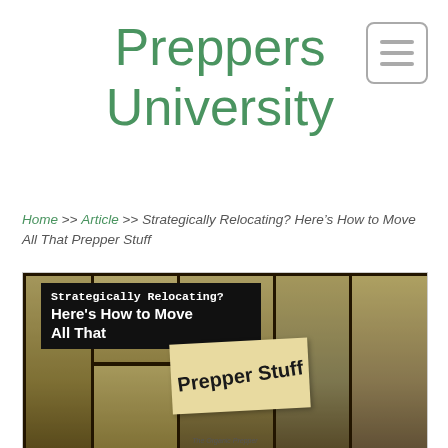Preppers University
Home >> Article >> Strategically Relocating? Here's How to Move All That Prepper Stuff
[Figure (photo): Article featured image showing stacked storage boxes/containers with overlaid text reading 'Strategically Relocating? Here's How to Move All That Prepper Stuff' on a black banner and a tan sticky note. Image credited to The Organic Prepper.]